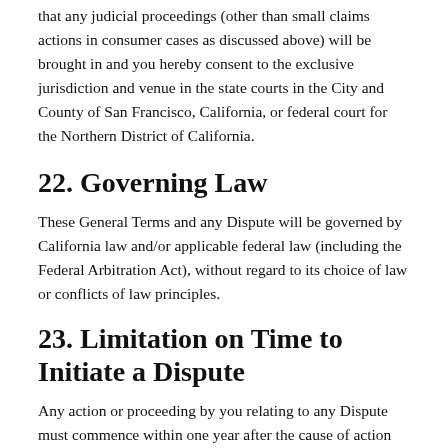that any judicial proceedings (other than small claims actions in consumer cases as discussed above) will be brought in and you hereby consent to the exclusive jurisdiction and venue in the state courts in the City and County of San Francisco, California, or federal court for the Northern District of California.
22. Governing Law
These General Terms and any Dispute will be governed by California law and/or applicable federal law (including the Federal Arbitration Act), without regard to its choice of law or conflicts of law principles.
23. Limitation on Time to Initiate a Dispute
Any action or proceeding by you relating to any Dispute must commence within one year after the cause of action accrues.